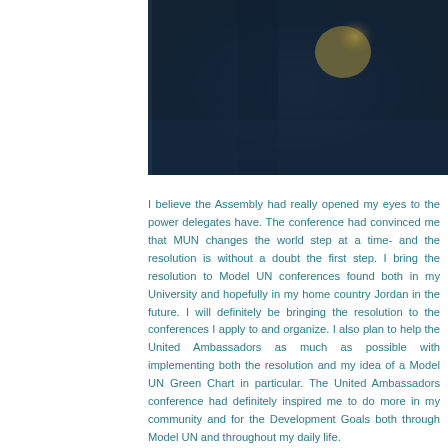[Figure (photo): A dark blurred photograph, likely taken at a conference or assembly hall. A blurred golden/yellow circular shape (possibly a logo or light fixture) is visible against a dark blue background.]
I believe the Assembly had really opened my eyes to the power delegates have. The conference had convinced me that MUN changes the world step at a time- and the resolution is without a doubt the first step. I bring the resolution to Model UN conferences found both in my University and hopefully in my home country Jordan in the future. I will definitely be bringing the resolution to the conferences I apply to and organize. I also plan to help the United Ambassadors as much as possible with implementing both the resolution and my idea of a Model UN Green Chart in particular. The United Ambassadors conference had definitely inspired me to do more in my community and for the Development Goals both through Model UN and throughout my daily life.